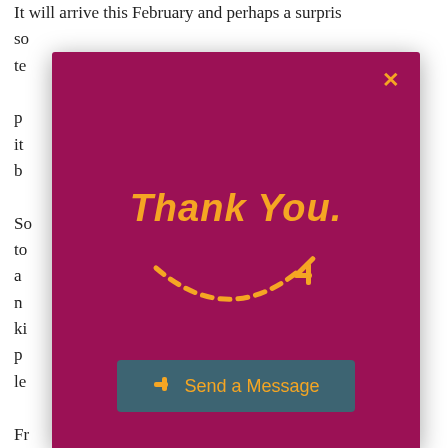It will arrive this February and perhaps a surprise so te p l it b
So to d a n ki p le
[Figure (screenshot): Modal overlay with crimson/magenta background showing 'Thank You.' in bold italic gold text, a dashed smile arc with arrow icon in gold, a 'Send a Message' button in teal with gold icon, and a gold X close button in top right corner.]
Fr d joyful holiday season,